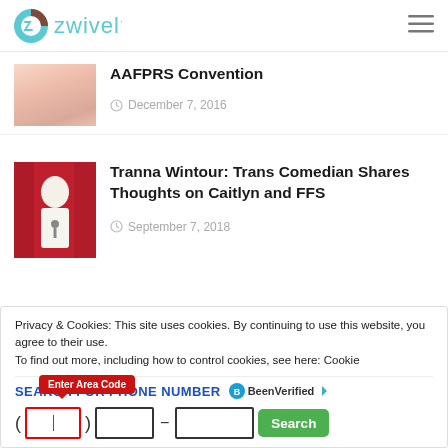zwivel
AAFPRS Convention
December 7, 2016
[Figure (photo): Woman performing on stage with microphone, red curtain background]
Tranna Wintour: Trans Comedian Shares Thoughts on Caitlyn and FFS
September 7, 2018
Privacy & Cookies: This site uses cookies. By continuing to use this website, you agree to their use. To find out more, including how to control cookies, see here: Cookie
SEARCH FOR PHONE NUMBER — BeenVerified Enter Area Code ( ) — Search